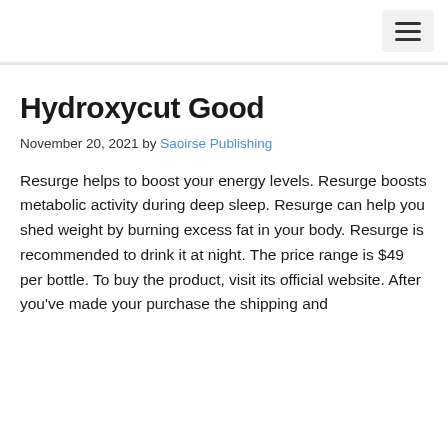☰
Hydroxycut Good
November 20, 2021 by Saoirse Publishing
Resurge helps to boost your energy levels. Resurge boosts metabolic activity during deep sleep. Resurge can help you shed weight by burning excess fat in your body. Resurge is recommended to drink it at night. The price range is $49 per bottle. To buy the product, visit its official website. After you've made your purchase the shipping and